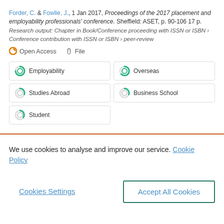Forder, C. & Fowlie, J., 1 Jan 2017, Proceedings of the 2017 placement and employability professionals' conference. Sheffield: ASET, p. 90-106 17 p. Research output: Chapter in Book/Conference proceeding with ISSN or ISBN › Conference contribution with ISSN or ISBN › peer-review
Open Access
File
Employability
Overseas
Studies Abroad
Business School
Student
We use cookies to analyse and improve our service. Cookie Policy
Cookies Settings
Accept All Cookies